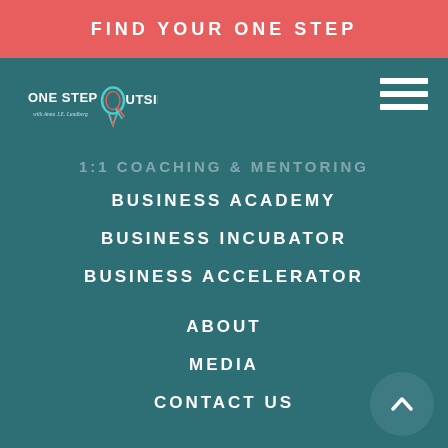FIND YOUR ONE STEP
[Figure (logo): One Step Outside logo with text 'with Anna J.E. Lundberg' and decorative Q-shaped icon with teal, white and red ribbons]
1:1 COACHING & MENTORING
BUSINESS ACADEMY
BUSINESS INCUBATOR
BUSINESS ACCELERATOR
ABOUT
MEDIA
CONTACT US